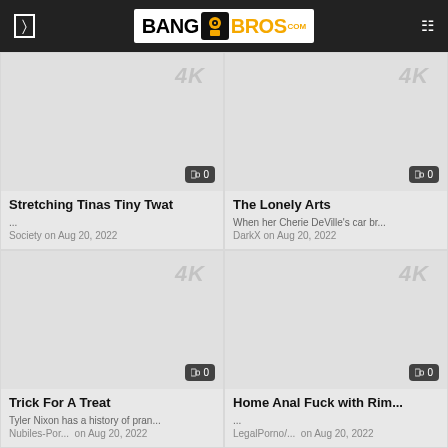BANGBROS
[Figure (screenshot): Video thumbnail placeholder with 4K badge and count badge showing 0]
Stretching Tinas Tiny Twat
...
Society on Aug 20, 2022
[Figure (screenshot): Video thumbnail placeholder with 4K badge and count badge showing 0]
The Lonely Arts
When her Cherie DeVille's car br...
DarkX on Aug 20, 2022
[Figure (screenshot): Video thumbnail placeholder with 4K badge and count badge showing 0]
Trick For A Treat
Tyler Nixon has a history of pran...
Nubiles-Por...  on Aug 20, 2022
[Figure (screenshot): Video thumbnail placeholder with 4K badge and count badge showing 0]
Home Anal Fuck with Rim...
...
LegalPorno/...  on Aug 20, 2022